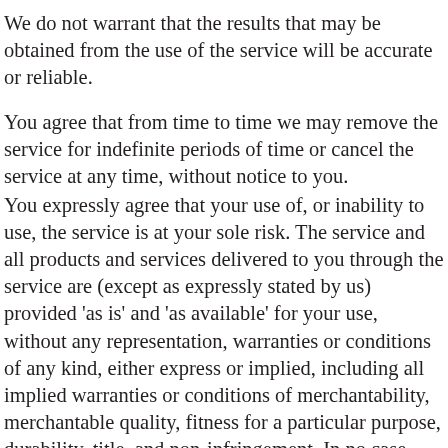We do not warrant that the results that may be obtained from the use of the service will be accurate or reliable.
You agree that from time to time we may remove the service for indefinite periods of time or cancel the service at any time, without notice to you.
You expressly agree that your use of, or inability to use, the service is at your sole risk. The service and all products and services delivered to you through the service are (except as expressly stated by us) provided 'as is' and 'as available' for your use, without any representation, warranties or conditions of any kind, either express or implied, including all implied warranties or conditions of merchantability, merchantable quality, fitness for a particular purpose, durability, title, and non-infringement. In no case shall Josu, our directors, officers, employees, affiliates, agents, contractors, interns, suppliers, service providers or licensors be liable for any injury, loss, claim, or any direct, indirect,